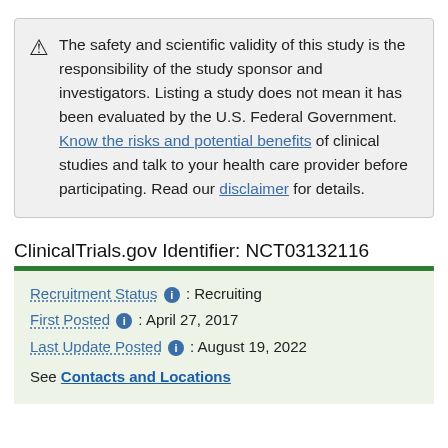The safety and scientific validity of this study is the responsibility of the study sponsor and investigators. Listing a study does not mean it has been evaluated by the U.S. Federal Government. Know the risks and potential benefits of clinical studies and talk to your health care provider before participating. Read our disclaimer for details.
ClinicalTrials.gov Identifier: NCT03132116
Recruitment Status: Recruiting
First Posted: April 27, 2017
Last Update Posted: August 19, 2022
See Contacts and Locations